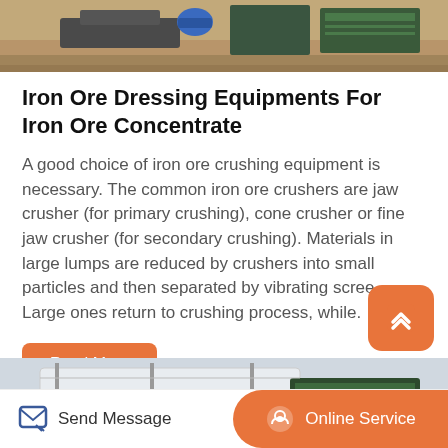[Figure (photo): Industrial iron ore crushing/processing equipment outdoors on dirt ground with blue motor visible]
Iron Ore Dressing Equipments For Iron Ore Concentrate
A good choice of iron ore crushing equipment is necessary. The common iron ore crushers are jaw crusher (for primary crushing), cone crusher or fine jaw crusher (for secondary crushing). Materials in large lumps are reduced by crushers into small particles and then separated by vibrating screens. Large ones return to crushing process, while.
Read More
[Figure (photo): Industrial conveyor belt or screening equipment with white covering/tarp visible outdoors]
Send Message | Online Service